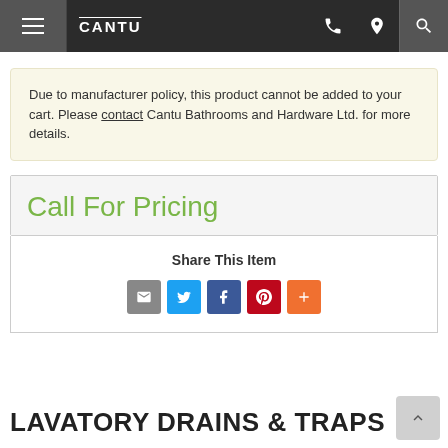CANTU (navigation bar with hamburger menu, phone, location, and search icons)
Due to manufacturer policy, this product cannot be added to your cart. Please contact Cantu Bathrooms and Hardware Ltd. for more details.
Call For Pricing
Share This Item
[Figure (infographic): Social sharing icons: email (grey), Twitter (blue), Facebook (dark blue), Pinterest (red), More (orange)]
LAVATORY DRAINS & TRAPS